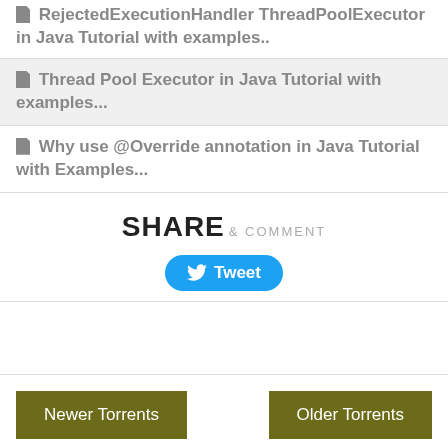RejectedExecutionHandler ThreadPoolExecutor in Java Tutorial with examples..
Thread Pool Executor in Java Tutorial with examples...
Why use @Override annotation in Java Tutorial with Examples...
SHARE & COMMENT
[Figure (other): Tweet button with Twitter bird icon]
Newer Torrents
Older Torrents
JOIN US AT FACEBOOK
[Figure (photo): Facebook group photo strip at bottom of page]